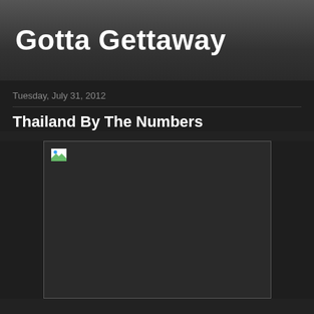Gotta Gettaway
Tuesday, July 31, 2012
Thailand By The Numbers
[Figure (photo): Broken/missing image placeholder with broken image icon in top-left corner, dark background with light border]